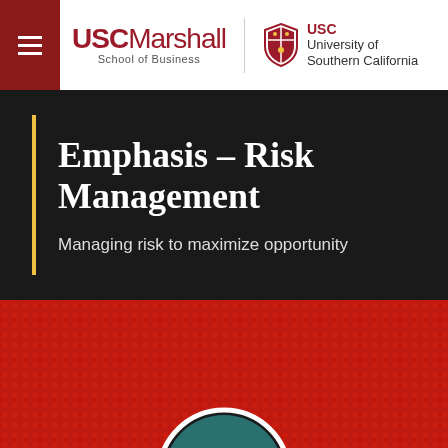USC Marshall School of Business | USC University of Southern California
Emphasis – Risk Management
Managing risk to maximize opportunity
[Figure (photo): Red dotted background with circular portrait at bottom center, partially visible]